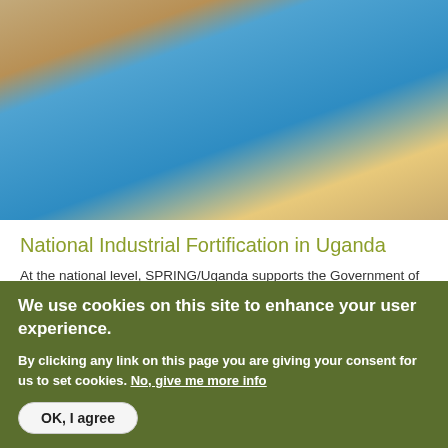[Figure (photo): Photo of a person in a blue shirt, likely in an agricultural or outdoor setting with grain/seeds visible]
National Industrial Fortification in Uganda
At the national level, SPRING/Uganda supports the Government of Uganda to coordinate the implementation of industrial and home fortification efforts, and other activities related to the...
Keywords: Fortification
Location: Uganda
[Figure (photo): Partial thumbnail of another image, teal/blue colored]
We use cookies on this site to enhance your user experience.
By clicking any link on this page you are giving your consent for us to set cookies. No, give me more info
OK, I agree